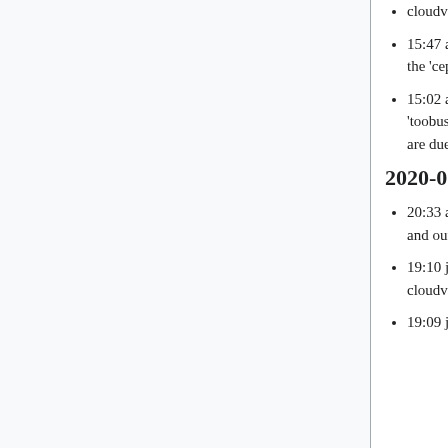cloudvirt1003-wdqs as part of T252831
15:47 andrewbogott: moving cloudvirt1004 and cloudvirt1006 to the 'ceph' aggregate for T252784
15:02 andrewbogott: moving all of cloudvirt100[1-9] into the 'toobusy' host aggregate. These are slower, have spinning disks, and are due for replacement.
2020-05-12
20:33 andrewbogott: moving cloudvirt1023 to the 'standard' pool and out of the 'spare' pool
19:10 jeh: disable neutron-openvswitch-agent service on cloudvirt2001-dev.codfw T248881
19:09 jeh: Shutdown the unused eno2 network interface on